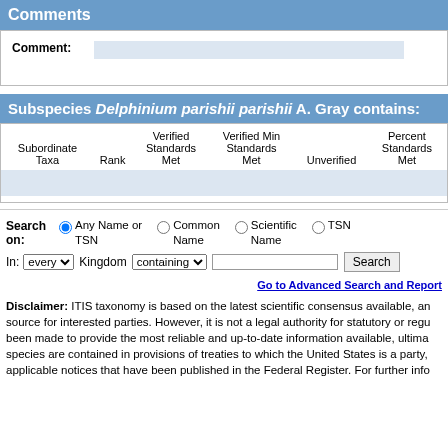Comments
| Comment: |
| --- |
|  |
Subspecies Delphinium parishii parishii A. Gray contains:
| Subordinate Taxa | Rank | Verified Standards Met | Verified Min Standards Met | Unverified | Percent Standards Met |
| --- | --- | --- | --- | --- | --- |
|  |
Search on: Any Name or TSN  Common Name  Scientific Name  TSN
In: every Kingdom containing  Search
Go to Advanced Search and Report
Disclaimer: ITIS taxonomy is based on the latest scientific consensus available, and is provided as a public service by the Integrated Taxonomic Information System (ITIS). Although ITIS makes every attempt to ensure that the information on its website is the most current and reliable information, it has been made to provide the most reliable and up-to-date information available, ultimately in the spirit of species are contained in provisions of treaties to which the United States is a party, applicable notices that have been published in the Federal Register. For further information,